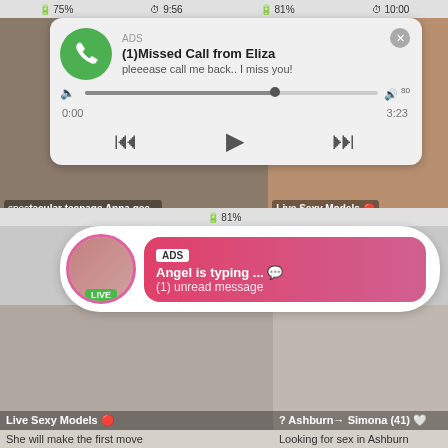75%  9:56  81%  10:00
[Figure (screenshot): Fake missed call notification card from Eliza with audio player controls. Shows ADS label, (1)Missed Call from Eliza, pleeease call me back.. I miss you!, audio progress bar, timestamps 0:00 and 3:23, rewind/play/fast-forward buttons.]
[Figure (screenshot): Background thumbnails with blurred adult content. Left panel label: spectacular teenage Anna gee... Right panel: Live Sexy Models.]
81%
[Figure (screenshot): Fake chat notification bubble. Shows avatar with LIVE badge, ADS label, Angel is typing ... (emoji), (1) unread message.]
[Figure (screenshot): Bottom thumbnail panels. Left: woman figure, label Live Sexy Models, subtitle She will make the first move. Right: older woman seated, label ? Ashburn→ Simona (41), subtitle Looking for sex in Ashburn.]